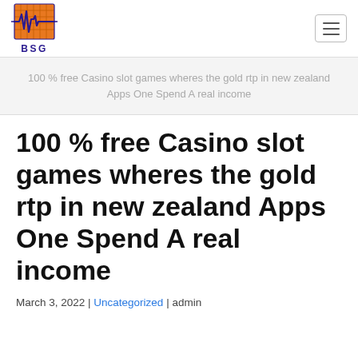[Figure (logo): BSG company logo: orange square with dark blue waveform/heartbeat graphic, text BSG below in dark blue bold letters]
100 % free Casino slot games wheres the gold rtp in new zealand Apps One Spend A real income
100 % free Casino slot games wheres the gold rtp in new zealand Apps One Spend A real income
March 3, 2022 | Uncategorized | admin